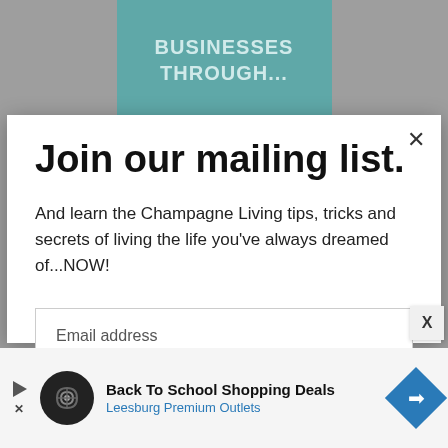[Figure (screenshot): Teal banner background with text BUSINESSES THROUGH... visible at top of page behind modal]
Join our mailing list.
And learn the Champagne Living tips, tricks and secrets of living the life you've always dreamed of...NOW!
Email address
Subscribe
[Figure (screenshot): Advertisement banner for Back To School Shopping Deals at Leesburg Premium Outlets with logo and navigation arrow icon]